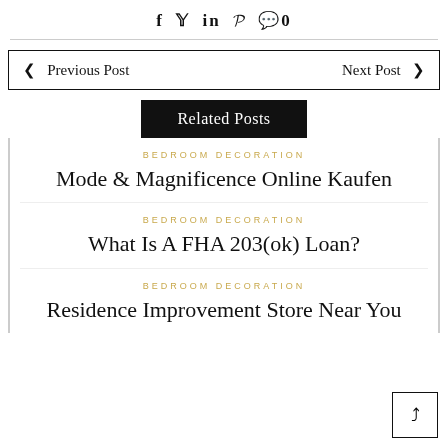f  y  in  p  💬 0
Previous Post   Next Post
Related Posts
BEDROOM DECORATION
Mode & Magnificence Online Kaufen
BEDROOM DECORATION
What Is A FHA 203(ok) Loan?
BEDROOM DECORATION
Residence Improvement Store Near You